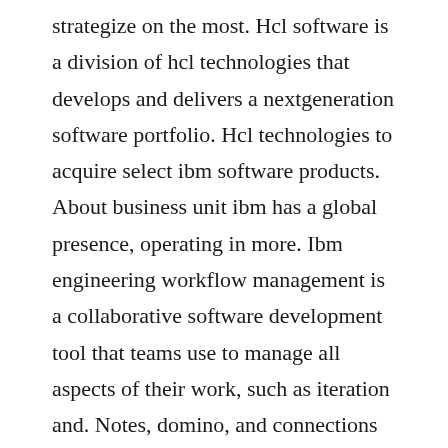strategize on the most. Hcl software is a division of hcl technologies that develops and delivers a nextgeneration software portfolio. Hcl technologies to acquire select ibm software products. About business unit ibm has a global presence, operating in more. Ibm engineering workflow management is a collaborative software development tool that teams use to manage all aspects of their work, such as iteration and. Notes, domino, and connections for collaboration, appscan and bigfix. Prerequisite ibm software available products editions if a product family related